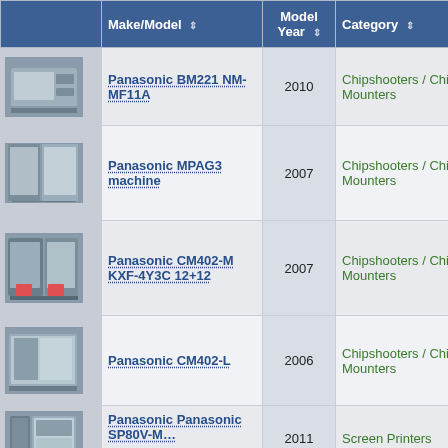|  | Make/Model | Model Year | Category |
| --- | --- | --- | --- |
| [image] | Panasonic BM221 NM-MF11A | 2010 | Chipshooters / Chip Mounters |
| [image] | Panasonic MPAG3 machine | 2007 | Chipshooters / Chip Mounters |
| [image] | Panasonic CM402-M KXF-4Y3C 12+12 | 2007 | Chipshooters / Chip Mounters |
| [image] | Panasonic CM402-L | 2006 | Chipshooters / Chip Mounters |
| [image] | Panasonic Panasonic SP80V-M… | 2011 | Screen Printers |